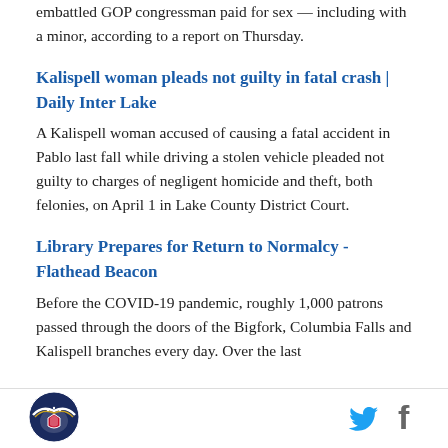embattled GOP congressman paid for sex — including with a minor, according to a report on Thursday.
Kalispell woman pleads not guilty in fatal crash | Daily Inter Lake
A Kalispell woman accused of causing a fatal accident in Pablo last fall while driving a stolen vehicle pleaded not guilty to charges of negligent homicide and theft, both felonies, on April 1 in Lake County District Court.
Library Prepares for Return to Normalcy - Flathead Beacon
Before the COVID-19 pandemic, roughly 1,000 patrons passed through the doors of the Bigfork, Columbia Falls and Kalispell branches every day. Over the last
[Figure (logo): Circular emblem/badge logo with eagle wings and shield in navy blue and red]
[Figure (logo): Twitter bird icon in light blue]
[Figure (logo): Facebook f icon in gray]